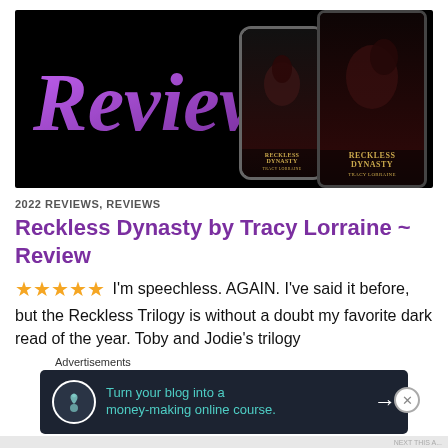[Figure (illustration): Dark banner image with purple cursive 'Review' text on left and book cover mockups (phone and tablet) for 'Reckless Dynasty' by Tracy Lorraine on the right against black background]
2022 REVIEWS, REVIEWS
Reckless Dynasty by Tracy Lorraine ~ Review
★★★★★ I'm speechless. AGAIN. I've said it before, but the Reckless Trilogy is without a doubt my favorite dark read of the year. Toby and Jodie's trilogy
Advertisements
[Figure (screenshot): Advertisement banner: dark navy background with circular tree/person icon, teal text 'Turn your blog into a money-making online course.' with white arrow on right]